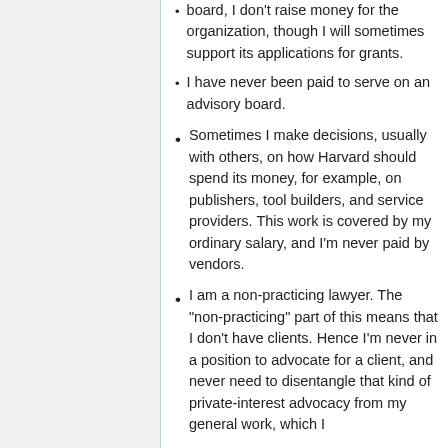board, I don't raise money for the organization, though I will sometimes support its applications for grants.
I have never been paid to serve on an advisory board.
Sometimes I make decisions, usually with others, on how Harvard should spend its money, for example, on publishers, tool builders, and service providers. This work is covered by my ordinary salary, and I'm never paid by vendors.
I am a non-practicing lawyer. The "non-practicing" part of this means that I don't have clients. Hence I'm never in a position to advocate for a client, and never need to disentangle that kind of private-interest advocacy from my general work, which I